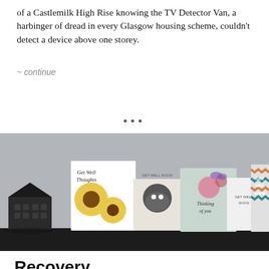of a Castlemilk High Rise knowing the TV Detector Van, a harbinger of dread in every Glasgow housing scheme, couldn't detect a device above one storey.
~ continue
...
[Figure (photo): A photograph of several greeting cards arranged on a dark surface against a grey wall. Cards include 'Get Well Thoughts' with sunflowers, 'Get Well Soon' with a cat, 'Thinking of you' with flowers and a butterfly, 'Get Well Soon' plain white, and a chevron-patterned 'Get Well Wishes' box. A small dark house model is visible on the left.]
Recovery
For almost three months I've been confined to our spare bedroom following my discharge from the Queen Elizabeth